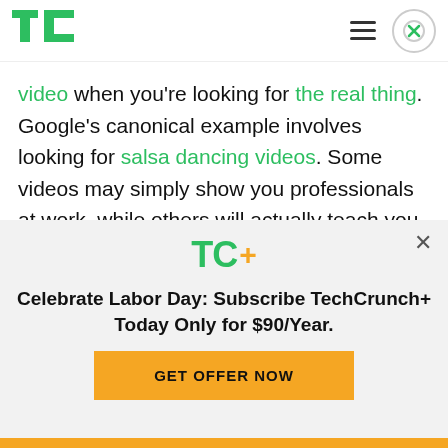TechCrunch logo and navigation bar
video when you’re looking for the real thing. Google’s canonical example involves looking for salsa dancing videos. Some videos may simply show you professionals at work, while others will actually teach you the steps.
Unsurprisingly, Google decided to use some of its
[Figure (logo): TC+ logo with green TC and yellow plus sign]
Celebrate Labor Day: Subscribe TechCrunch+ Today Only for $90/Year.
GET OFFER NOW